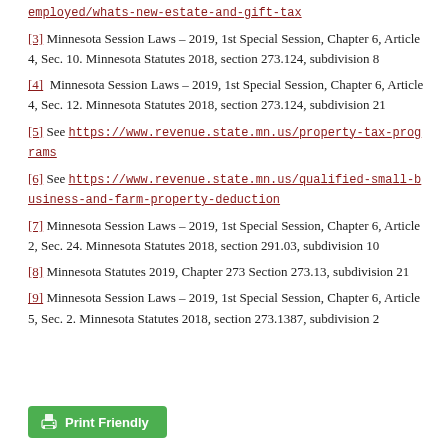[link] employed/whats-new-estate-and-gift-tax
[3] Minnesota Session Laws – 2019, 1st Special Session, Chapter 6, Article 4, Sec. 10. Minnesota Statutes 2018, section 273.124, subdivision 8
[4] Minnesota Session Laws – 2019, 1st Special Session, Chapter 6, Article 4, Sec. 12. Minnesota Statutes 2018, section 273.124, subdivision 21
[5] See https://www.revenue.state.mn.us/property-tax-programs
[6] See https://www.revenue.state.mn.us/qualified-small-business-and-farm-property-deduction
[7] Minnesota Session Laws – 2019, 1st Special Session, Chapter 6, Article 2, Sec. 24. Minnesota Statutes 2018, section 291.03, subdivision 10
[8] Minnesota Statutes 2019, Chapter 273 Section 273.13, subdivision 21
[9] Minnesota Session Laws – 2019, 1st Special Session, Chapter 6, Article 5, Sec. 2. Minnesota Statutes 2018, section 273.1387, subdivision 2